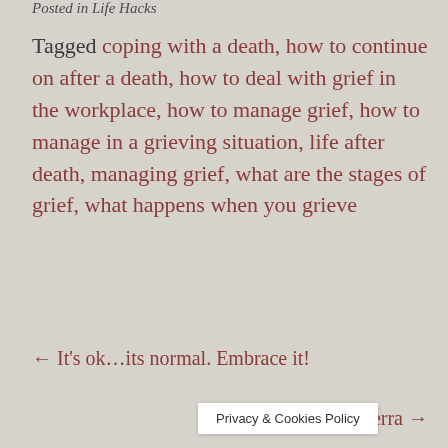Posted in Life Hacks
Tagged coping with a death, how to continue on after a death, how to deal with grief in the workplace, how to manage grief, how to manage in a grieving situation, life after death, managing grief, what are the stages of grief, what happens when you grieve
← It's ok...its normal. Embrace it!
The Resili… ierra →
Privacy & Cookies Policy